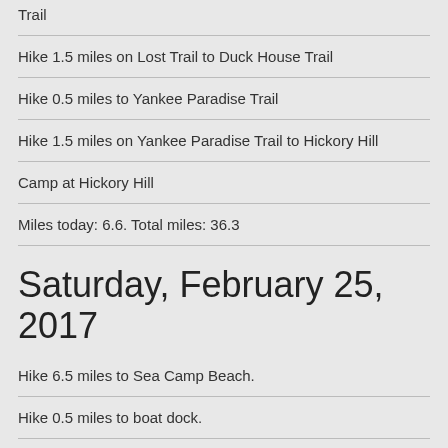Trail
Hike 1.5 miles on Lost Trail to Duck House Trail
Hike 0.5 miles to Yankee Paradise Trail
Hike 1.5 miles on Yankee Paradise Trail to Hickory Hill
Camp at Hickory Hill
Miles today: 6.6. Total miles: 36.3
Saturday, February 25, 2017
Hike 6.5 miles to Sea Camp Beach.
Hike 0.5 miles to boat dock.
Leave packs and day-Hike 1.0 miles on River Trail to the Dungeness Ruins